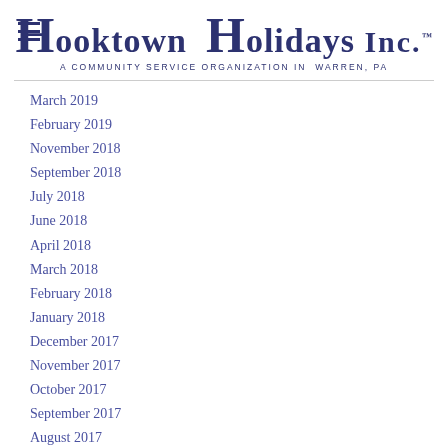Hooktown Holidays Inc. — A Community Service Organization in Warren, PA
March 2019
February 2019
November 2018
September 2018
July 2018
June 2018
April 2018
March 2018
February 2018
January 2018
December 2017
November 2017
October 2017
September 2017
August 2017
July 2017
June 2017